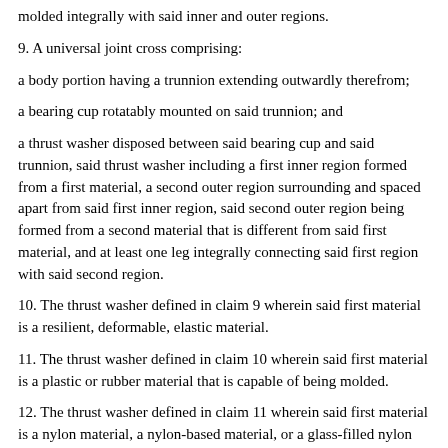molded integrally with said inner and outer regions.
9. A universal joint cross comprising:
a body portion having a trunnion extending outwardly therefrom;
a bearing cup rotatably mounted on said trunnion; and
a thrust washer disposed between said bearing cup and said trunnion, said thrust washer including a first inner region formed from a first material, a second outer region surrounding and spaced apart from said first inner region, said second outer region being formed from a second material that is different from said first material, and at least one leg integrally connecting said first region with said second region.
10. The thrust washer defined in claim 9 wherein said first material is a resilient, deformable, elastic material.
11. The thrust washer defined in claim 10 wherein said first material is a plastic or rubber material that is capable of being molded.
12. The thrust washer defined in claim 11 wherein said first material is a nylon material, a nylon-based material, or a glass-filled nylon material.